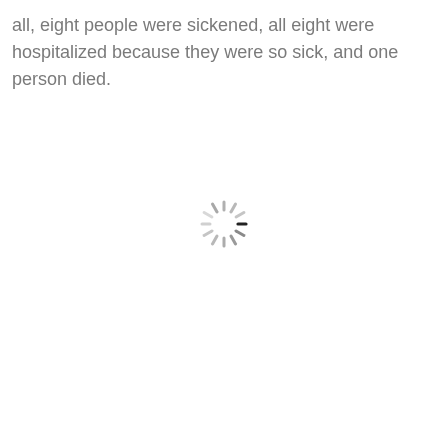all, eight people were sickened, all eight were hospitalized because they were so sick, and one person died.
[Figure (other): Loading spinner graphic — a circular arrangement of short line segments in varying shades of gray, resembling a classic progress/loading indicator.]